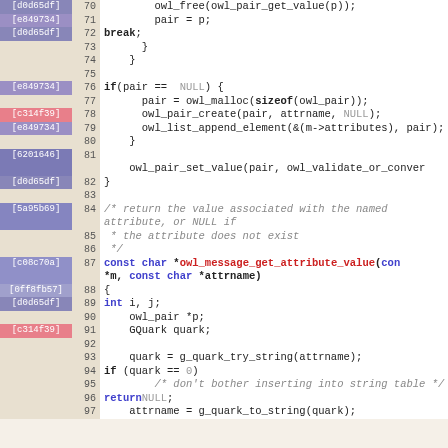[Figure (screenshot): Source code viewer showing C code lines 70-97 with blame annotations and line numbers. Code includes owl_free, pair assignments, owl_pair_create, owl_list_append_element, owl_pair_set_value, comment blocks, and owl_message_get_attribute_value function definition with variable declarations and quark operations.]